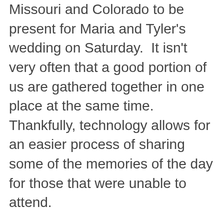Missouri and Colorado to be present for Maria and Tyler's wedding on Saturday.  It isn't very often that a good portion of us are gathered together in one place at the same time.  Thankfully, technology allows for an easier process of sharing some of the memories of the day for those that were unable to attend.
It has been a a whirlwind of activity during the last week.  On Wednesday I served as a deacon for the funeral of Barbara Murray.  Although I didn't know her well, I know several of her children and grandchildren.  It is obvious through each of them that Barbara was a wonderful woman.  I continue to keep the family in my prayers through this transition in life.
On Friday I served as a deacon for the ordination of two men to the priesthood.  This was a beautiful celebration.  The huge impact of such a